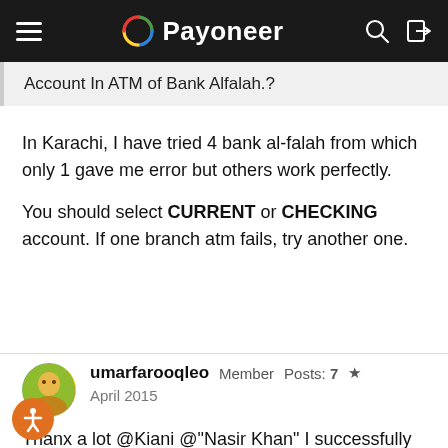Payoneer
Account In ATM of Bank Alfalah.?
In Karachi, I have tried 4 bank al-falah from which only 1 gave me error but others work perfectly.
You should select CURRENT or CHECKING account. If one branch atm fails, try another one.
umarfarooqleo  Member  Posts: 7  ★
April 2015
Thanx a lot @Kiani @"Nasir Khan" I successfully done the transaction. The Bank Alfalah ATM on Saidpur Road Rawalpindi gave me my money :)
3 tries at different ATMS of Bank Alfalah, I succeeded in the third one!